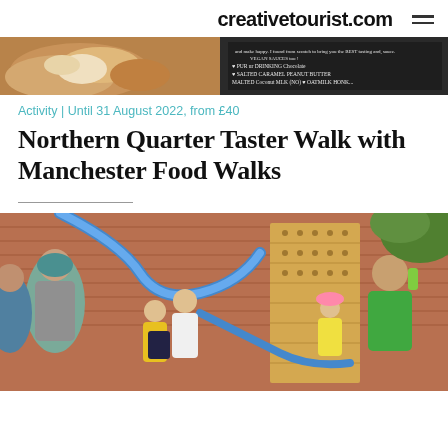creativetourist.com
[Figure (photo): Close-up photo of food items including bread and a chalkboard menu listing vegan options like oat milk, salted caramel peanut butter]
Activity | Until 31 August 2022, from £40
Northern Quarter Taster Walk with Manchester Food Walks
[Figure (photo): People including adults and children engaged in an outdoor play/craft activity involving blue tubes and a wooden board structure, with a brick wall backdrop]